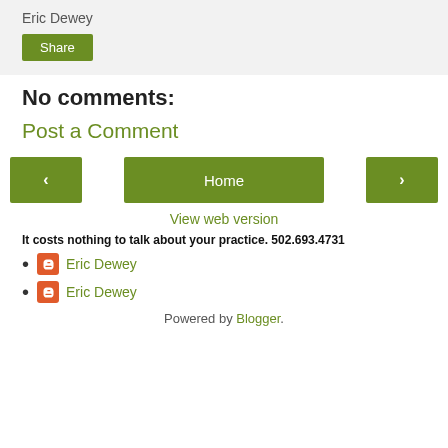Eric Dewey
Share
No comments:
Post a Comment
< Home >
View web version
It costs nothing to talk about your practice. 502.693.4731
Eric Dewey
Eric Dewey
Powered by Blogger.